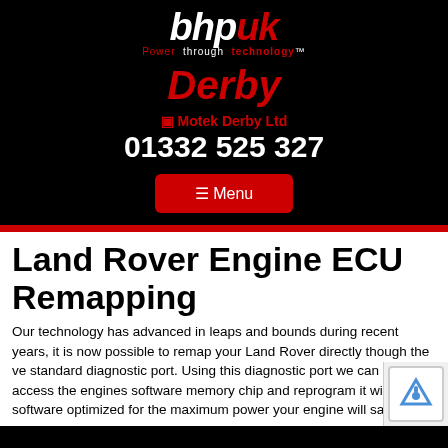[Figure (logo): BHP UK logo - 'bhp' in white italic bold and 'uk' in red italic bold, with tagline 'Power through technology' below]
Derby
📱 Motek Derby Ltd
01332 525 327
☰ Menu
Land Rover Engine ECU Remapping
Our technology has advanced in leaps and bounds during recent years, it is now possible to remap your Land Rover directly though the ve... standard diagnostic port. Using this diagnostic port we can cove... access the engines software memory chip and reprogram it with ... software optimized for the maximum power your engine will safely